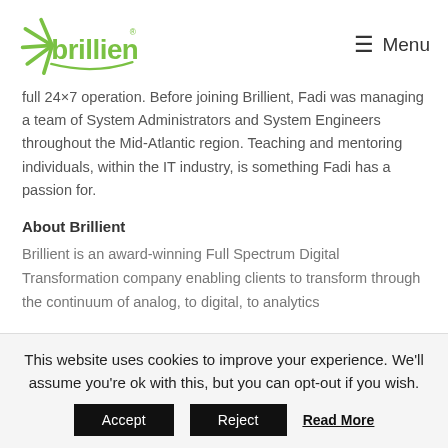brillient® Menu
full 24×7 operation. Before joining Brillient, Fadi was managing a team of System Administrators and System Engineers throughout the Mid-Atlantic region. Teaching and mentoring individuals, within the IT industry, is something Fadi has a passion for.
About Brillient
Brillient is an award-winning Full Spectrum Digital Transformation company enabling clients to transform through the continuum of analog, to digital, to analytics
This website uses cookies to improve your experience. We'll assume you're ok with this, but you can opt-out if you wish.
Accept   Reject   Read More